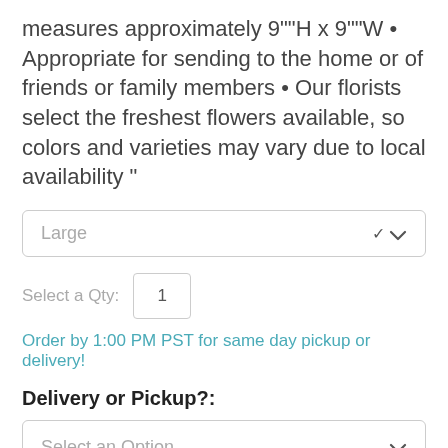measures approximately 9""H x 9""W • Appropriate for sending to the home or of friends or family members • Our florists select the freshest flowers available, so colors and varieties may vary due to local availability "
Large
Select a Qty: 1
Order by 1:00 PM PST for same day pickup or delivery!
Delivery or Pickup?:
Select an Option